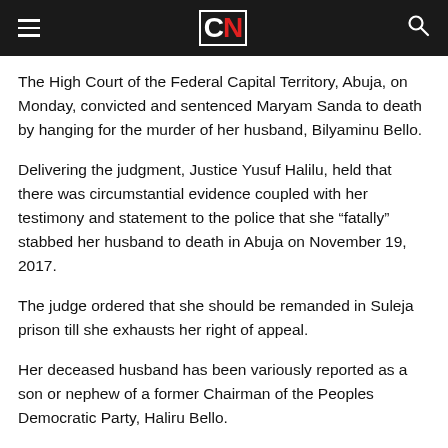CN (logo)
The High Court of the Federal Capital Territory, Abuja, on Monday, convicted and sentenced Maryam Sanda to death by hanging for the murder of her husband, Bilyaminu Bello.
Delivering the judgment, Justice Yusuf Halilu, held that there was circumstantial evidence coupled with her testimony and statement to the police that she “fatally” stabbed her husband to death in Abuja on November 19, 2017.
The judge ordered that she should be remanded in Suleja prison till she exhausts her right of appeal.
Her deceased husband has been variously reported as a son or nephew of a former Chairman of the Peoples Democratic Party, Haliru Bello.